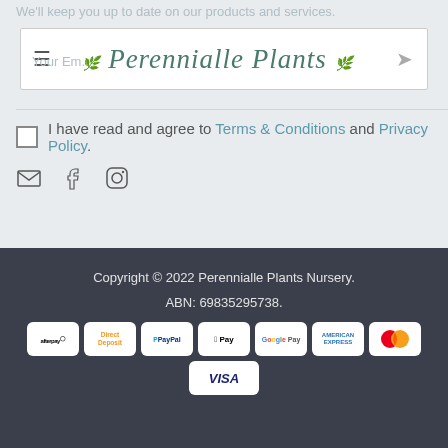We'll keep you up to date on our products and services.
[Figure (logo): Perennialle Plants cursive logo with leaf decorations in teal/dark green]
Your Email...
I have read and agree to Terms & Conditions and Privacy Policy.
[Figure (infographic): Social media icons: email envelope, Facebook, Instagram]
Copyright © 2022 Perennialle Plants Nursery.
ABN: 69835295738.
[Figure (infographic): Payment method icons: Afterpay, Direct Deposit, PayPal, Apple Pay, Google Pay, American Express, Mastercard, Visa]